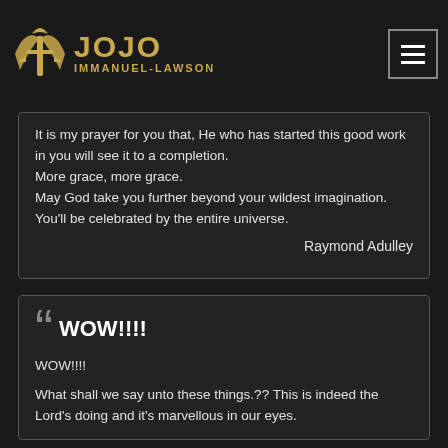JOJO IMMANUEL-LAWSON
It is my prayer for you that, He who has started this good work in you will see it to a completion.
More grace, more grace.
May God take you further beyond your wildest imagination.
You'll be celebrated by the entire universe.

Raymond Adulley
WOW!!!!
WOW!!!!

What shall we say unto these things.?? This is indeed the Lord's doing and it's marvellous in our eyes.